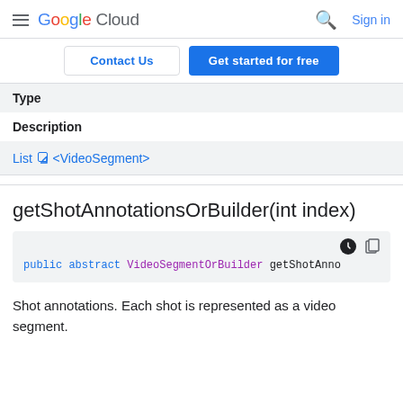Google Cloud  Sign in
Contact Us  Get started for free
| Type |
| --- |
| Description |
| List <VideoSegment> |
getShotAnnotationsOrBuilder(int index)
public abstract VideoSegmentOrBuilder getShotAnno
Shot annotations. Each shot is represented as a video segment.